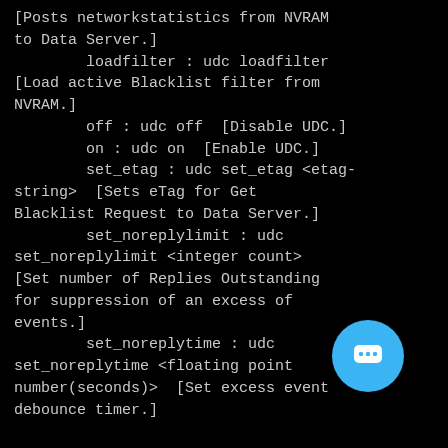[Posts networkstatistics from NVRAM to Data Server.]
        loadfilter : udc loadfilter [Load active Blacklist filter from NVRAM.]
        off : udc off  [Disable UDC.]
        on : udc on  [Enable UDC.]
        set_etag : udc set_etag <etag-string>  [Sets eTag for Get Blacklist Request to Data Server.]
        set_noreplylimit : udc set_noreplylimit <integer count> [Set number of Replies Outstanding for suppression of an excess of events.]
        set_noreplytime : udc set_noreplytime <floating point number(seconds)>  [Set excess event debounce timer.]
[Figure (other): Blue rounded chat button icon in bottom-right corner]